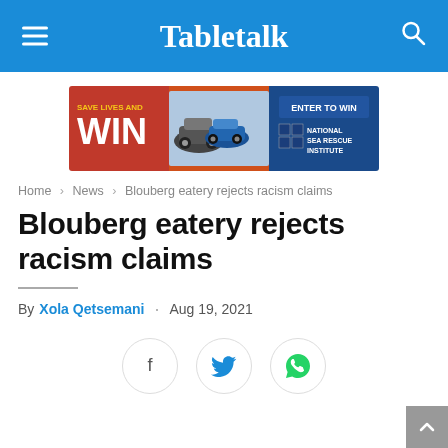Tabletalk
[Figure (infographic): Advertisement banner: SAVE LIVES AND WIN with cars and ENTER TO WIN - National Sea Rescue Institute]
Home › News › Blouberg eatery rejects racism claims
Blouberg eatery rejects racism claims
By Xola Qetsemani · Aug 19, 2021
[Figure (infographic): Social sharing buttons: Facebook, Twitter, WhatsApp]